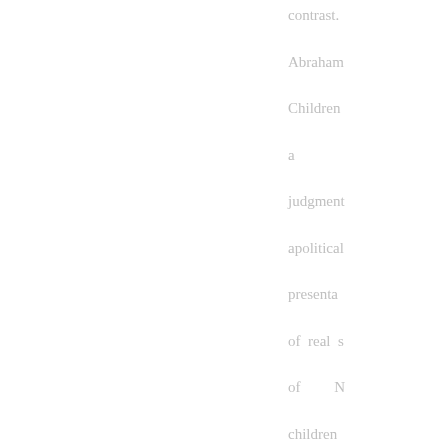contrast. Abraham Children a judgment apolitical presenta of real s of N children America. I set out fall of 20 learn abo lives of N